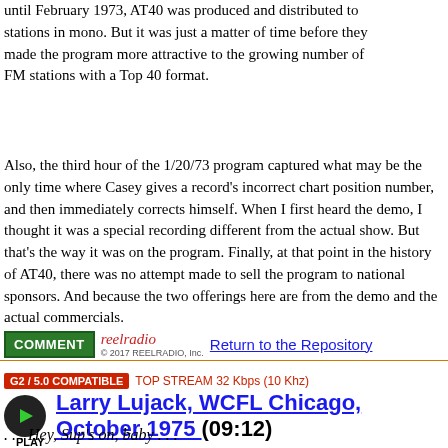until February 1973, AT40 was produced and distributed to stations in mono. But it was just a matter of time before they made the program more attractive to the growing number of FM stations with a Top 40 format.
Also, the third hour of the 1/20/73 program captured what may be the only time where Casey gives a record's incorrect chart position number, and then immediately corrects himself. When I first heard the demo, I thought it was a special recording different from the actual show. But that's the way it was on the program. Finally, at that point in the history of AT40, there was no attempt made to sell the program to national sponsors. And because the two offerings here are from the demo and the actual commercials.
COMMENT  reelradio © 2017 REELRADIO, Inc.  Return to the Repository
G2 / 5.0 COMPATIBLE  TOP STREAM 32 Kbps (10 Khz)
Larry Lujack, WCFL Chicago, October 1975 (09:12)
PLAY
. . . Hey, Sup's on, baby . . .